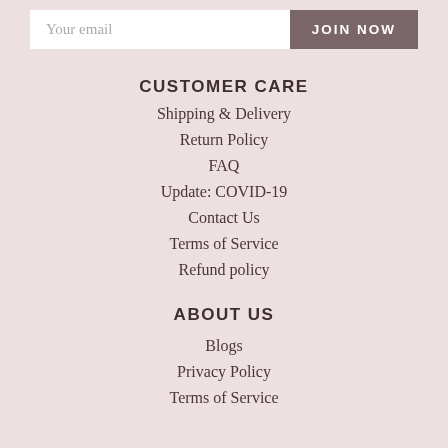[Figure (other): Email subscription input field with 'Your email' placeholder and 'JOIN NOW' button]
CUSTOMER CARE
Shipping & Delivery
Return Policy
FAQ
Update: COVID-19
Contact Us
Terms of Service
Refund policy
ABOUT US
Blogs
Privacy Policy
Terms of Service